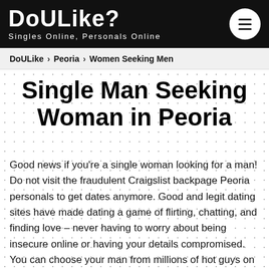DoULike? — Singles Online, Personals Online
DoULike > Peoria > Women Seeking Men
Single Man Seeking Woman in Peoria
Good news if you're a single woman looking for a man! Do not visit the fraudulent Craigslist backpage Peoria personals to get dates anymore. Good and legit dating sites have made dating a game of flirting, chatting, and finding love – never having to worry about being insecure online or having your details compromised. You can choose your man from millions of hot guys on the web. Yes, that's the range of options that online dating provides you with!